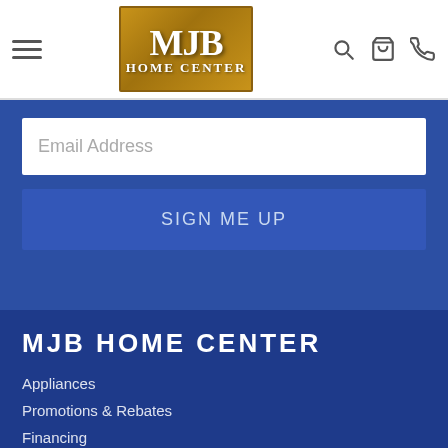[Figure (logo): MJB Home Center logo — gold/brown background with serif white text MJB over HOME CENTER]
Email Address
SIGN ME UP
MJB HOME CENTER
Appliances
Promotions & Rebates
Financing